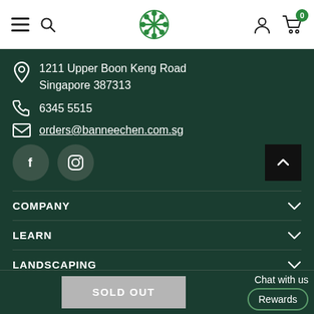Navigation bar with hamburger menu, search, logo, user icon, cart (0)
1211 Upper Boon Keng Road
Singapore 387313
6345 5515
orders@banneechen.com.sg
[Figure (infographic): Facebook and Instagram social media icon buttons, and a back-to-top arrow button]
COMPANY
LEARN
LANDSCAPING
Chat with us   Rewards
SOLD OUT